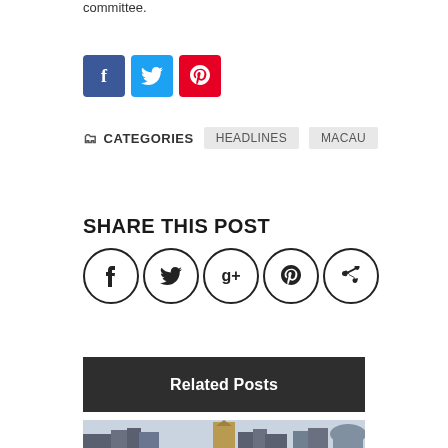committee.
[Figure (other): Social share buttons: Facebook (blue), Twitter (cyan), Pinterest (red)]
CATEGORIES   HEADLINES   MACAU
SHARE THIS POST
[Figure (other): Share icons: Facebook, Twitter, Google+, Pinterest, LinkedIn — all in circular outlines]
Related Posts
[Figure (photo): City skyline photo of Macau showing tall buildings and the Grand Lisboa hotel tower]